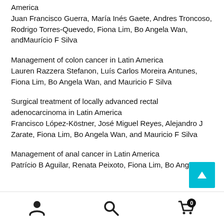America
Juan Francisco Guerra, María Inés Gaete, Andres Troncoso, Rodrigo Torres-Quevedo, Fiona Lim, Bo Angela Wan, andMaurício F Silva
Management of colon cancer in Latin America
Lauren Razzera Stefanon, Luís Carlos Moreira Antunes, Fiona Lim, Bo Angela Wan, and Mauricio F Silva
Surgical treatment of locally advanced rectal adenocarcinoma in Latin America
Francisco López-Köstner, José Miguel Reyes, Alejandro J Zarate, Fiona Lim, Bo Angela Wan, and Mauricio F Silva
Management of anal cancer in Latin America
Patrício B Aguilar, Renata Peixoto, Fiona Lim, Bo Angela...